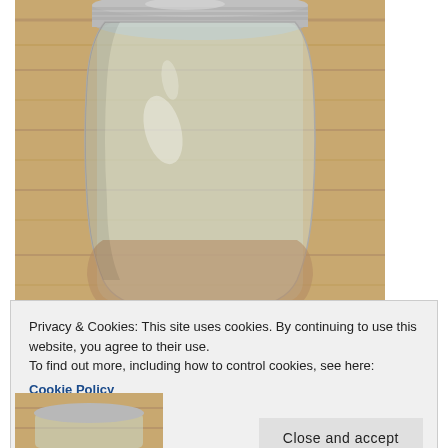[Figure (photo): A glass mason jar with a silver metal lid containing a light brown liquid, placed on a wooden surface. The jar appears to be mostly empty with a small amount of liquid at the bottom.]
Privacy & Cookies: This site uses cookies. By continuing to use this website, you agree to their use.
To find out more, including how to control cookies, see here: Cookie Policy
[Figure (photo): A partial view of another food item or jar at the bottom of the page, on a wooden surface.]